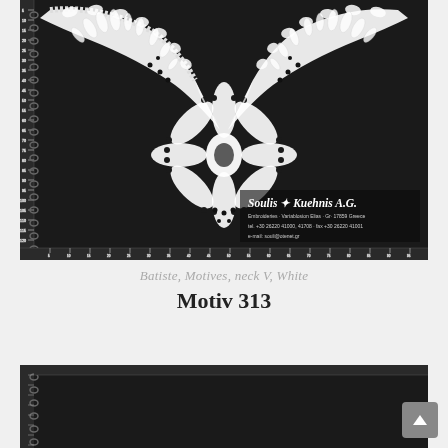[Figure (photo): A black background product photo showing a white embroidered V-neck collar motif with floral/petal patterns. A ruler scale is visible along the edges. The Soulis & Kuehnis A.G. company branding is shown at the bottom right of the image with contact details.]
Batiste, Motives, neck V, White
Motiv 313
[Figure (photo): Bottom portion of another black background product photo, partially visible, showing the beginning of another embroidery motif catalog page.]